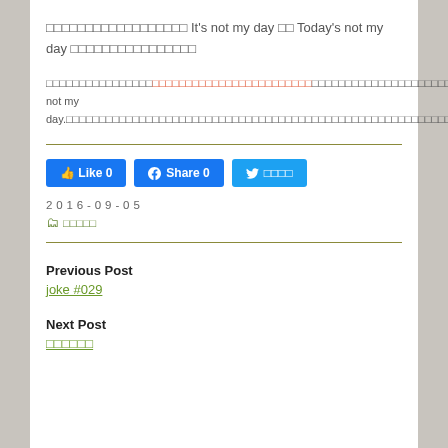□□□□□□□□□□□□□□□□□□ It's not my day □□ Today's not my day □□□□□□□□□□□□□□□□
□□□□□□□□□□□□□□□□□□□□□□□□□□□□□□□□□□□□□□□□□□□□□□□□□□□□□□□□□□□□□□□□□□□□□□□□□□□□□□□□□□□□□□□□□□□□□□□□□□□□□□□□□□□□□□□□□□□□□It's not my day.□□□□□□□□□□□□□□□□□□□□□□□□□□□□□□□□□□□□□□□□□□□□□□□□□□□□□□□□□□□□□□□□□□□□□□□□□□□□□□□□□□□□□□□□□□□
Like 0   Share 0   ツイート
2016-09-05
□□□□□
Previous Post
joke #029
Next Post
□□□□□□